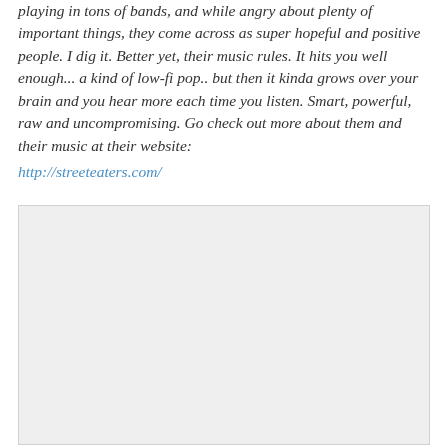playing in tons of bands, and while angry about plenty of important things, they come across as super hopeful and positive people. I dig it. Better yet, their music rules. It hits you well enough... a kind of low-fi pop.. but then it kinda grows over your brain and you hear more each time you listen. Smart, powerful, raw and uncompromising. Go check out more about them and their music at their website: http://streeteaters.com/
[Figure (photo): A large image placeholder with a light grey background, no visible content]